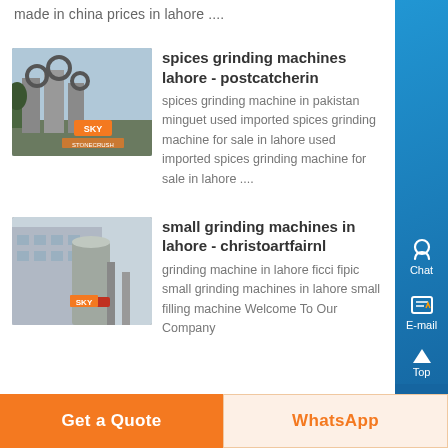made in china prices in lahore ....
[Figure (photo): Industrial grinding machinery with large pipes and silos, labeled SKY]
spices grinding machines lahore - postcatcherin
spices grinding machine in pakistan minguet used imported spices grinding machine for sale in lahore used imported spices grinding machine for sale in lahore ....
[Figure (photo): Industrial grinding plant exterior with large cylindrical equipment, labeled SKY]
small grinding machines in lahore - christoartfairnl
grinding machine in lahore ficci fipic small grinding machines in lahore small filling machine Welcome To Our Company
Get a Quote
WhatsApp